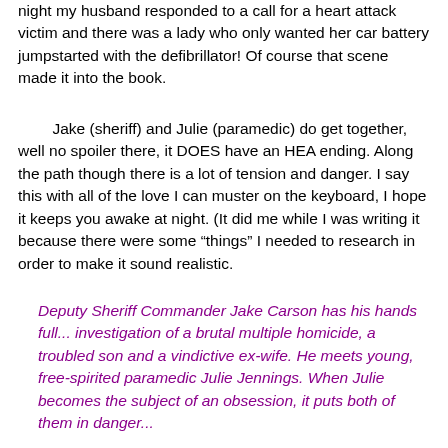night my husband responded to a call for a heart attack victim and there was a lady who only wanted her car battery jumpstarted with the defibrillator! Of course that scene made it into the book.
Jake (sheriff) and Julie (paramedic) do get together, well no spoiler there, it DOES have an HEA ending. Along the path though there is a lot of tension and danger. I say this with all of the love I can muster on the keyboard, I hope it keeps you awake at night. (It did me while I was writing it because there were some “things” I needed to research in order to make it sound realistic.
Deputy Sheriff Commander Jake Carson has his hands full... investigation of a brutal multiple homicide, a troubled son and a vindictive ex-wife. He meets young, free-spirited paramedic Julie Jennings. When Julie becomes the subject of an obsession, it puts both of them in danger...